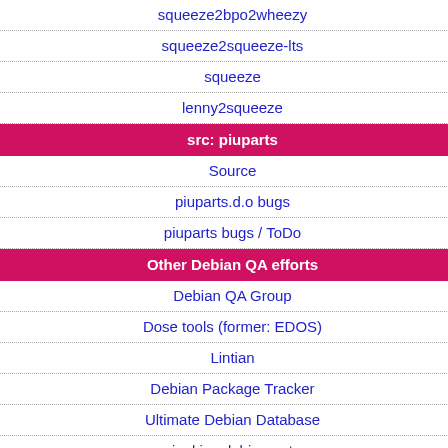squeeze2bpo2wheezy
squeeze2squeeze-lts
squeeze
lenny2squeeze
src: piuparts
Source
piuparts.d.o bugs
piuparts bugs / ToDo
Other Debian QA efforts
Debian QA Group
Dose tools (former: EDOS)
Lintian
Debian Package Tracker
Ultimate Debian Database
jenkins.debian.net
| Label | Value | Result |
| --- | --- | --- |
|  | dev | resu... |
| Source: | lua-expat | piup... sum |
| Maintainer: | Debian Lua Team |  |
| Uploaders: | Victor Seva <vsev... |  |
| Binary: | lua-expat | piup... resu... |
| Binary: | lua-expat-dev | piup... resu... |
| Source: | lua-filesystem | piup... sum |
| Maintainer: | Debian Lua Team |  |
| Uploaders: | Victor Seva <vsev... |  |
| Binary: | lua-filesystem | piup... resu... |
| Binary: | lua-filesystem-dev | piup... resu... |